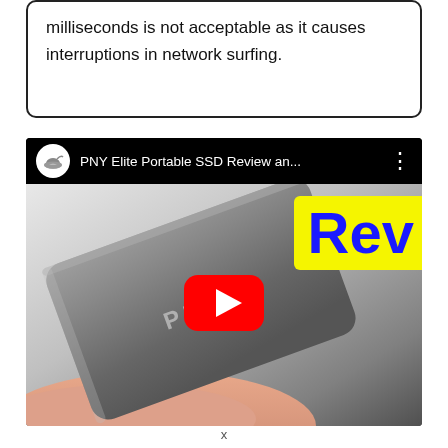milliseconds is not acceptable as it causes interruptions in network surfing.
[Figure (screenshot): YouTube embed showing a video titled 'PNY Elite Portable SSD Review an...' with a thumbnail of a portable SSD device being held, a yellow 'Rev' label overlay, and a YouTube play button in the center.]
x